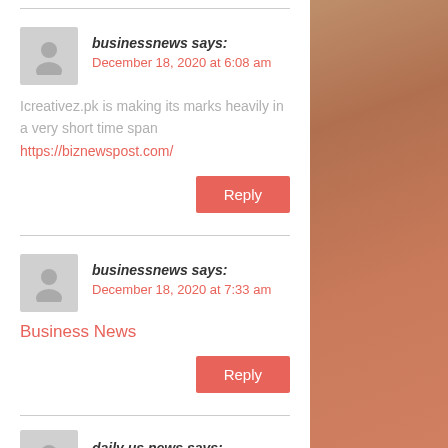businessnews says:
December 18, 2020 at 6:08 am
Icreativez.pk is making its marks heavily in a very short time span
https://biznewspost.com/
Reply
businessnews says:
December 18, 2020 at 7:33 am
Business News
Reply
daily us news says: